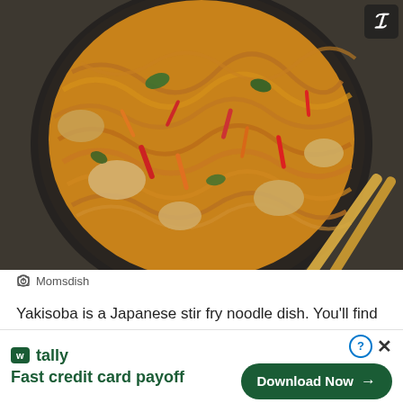[Figure (photo): Overhead photo of a black bowl filled with yakisoba stir fry noodles with chicken, red peppers, carrots, and green vegetables, with wooden chopsticks resting on the side. Dark slate background.]
Momsdish
Yakisoba is a Japanese stir fry noodle dish. You'll find it in street food stands, restaurants, and homes across the country. Precooked noodles work best and the safe only
[Figure (infographic): Tally advertisement banner: tally logo with 'Fast credit card payoff' tagline on the left, and a green 'Download Now' button with arrow on the right. Help (?) and close (X) icons in the upper right corner.]